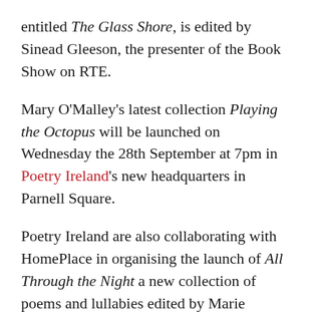entitled The Glass Shore, is edited by Sinead Gleeson, the presenter of the Book Show on RTE.
Mary O'Malley's latest collection Playing the Octopus will be launched on Wednesday the 28th September at 7pm in Poetry Ireland's new headquarters in Parnell Square.
Poetry Ireland are also collaborating with HomePlace in organising the launch of All Through the Night a new collection of poems and lullabies edited by Marie Heaney. The event takes place at the newly opened Seamus Heaney birthplace in Bellaghy.
On the evening of Tuesday 4th September Books...